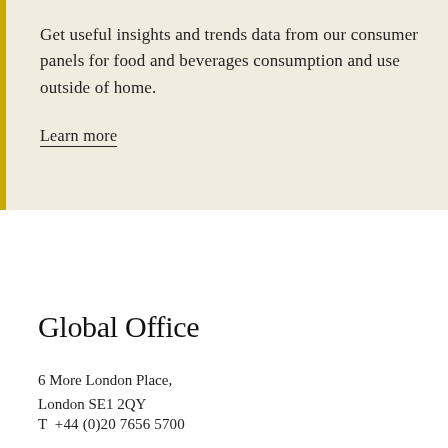Get useful insights and trends data from our consumer panels for food and beverages consumption and use outside of home.
Learn more
Global Office
6 More London Place,
London SE1 2QY
T  +44 (0)20 7656 5700